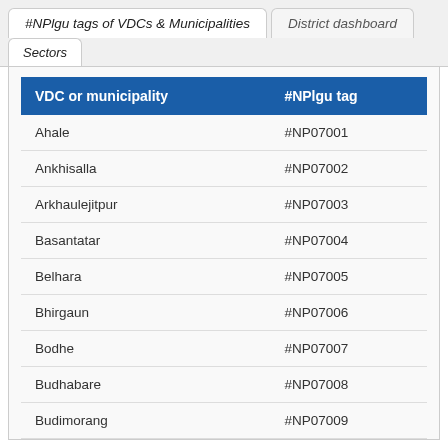#NPlgu tags of VDCs & Municipalities
District dashboard
Sectors
| VDC or municipality | #NPlgu tag |
| --- | --- |
| Ahale | #NP07001 |
| Ankhisalla | #NP07002 |
| Arkhaulejitpur | #NP07003 |
| Basantatar | #NP07004 |
| Belhara | #NP07005 |
| Bhirgaun | #NP07006 |
| Bodhe | #NP07007 |
| Budhabare | #NP07008 |
| Budimorang | #NP07009 |